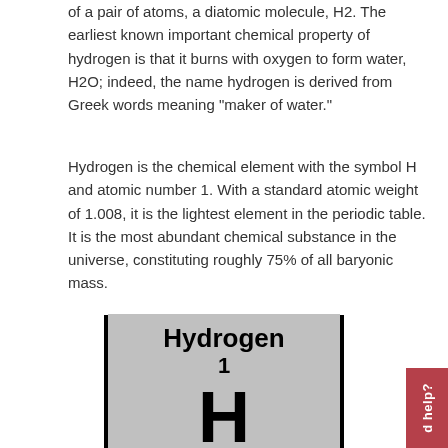of a pair of atoms, a diatomic molecule, H2. The earliest known important chemical property of hydrogen is that it burns with oxygen to form water, H2O; indeed, the name hydrogen is derived from Greek words meaning "maker of water."
Hydrogen is the chemical element with the symbol H and atomic number 1. With a standard atomic weight of 1.008, it is the lightest element in the periodic table. It is the most abundant chemical substance in the universe, constituting roughly 75% of all baryonic mass.
[Figure (illustration): Periodic table element card for Hydrogen. Gray card with black border showing 'Hydrogen' as title, atomic number 1 below, and large symbol 'H' in the center.]